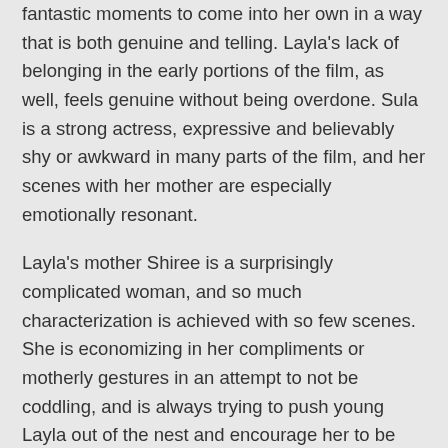fantastic moments to come into her own in a way that is both genuine and telling. Layla's lack of belonging in the early portions of the film, as well, feels genuine without being overdone. Sula is a strong actress, expressive and believably shy or awkward in many parts of the film, and her scenes with her mother are especially emotionally resonant.
Layla's mother Shiree is a surprisingly complicated woman, and so much characterization is achieved with so few scenes. She is economizing in her compliments or motherly gestures in an attempt to not be coddling, and is always trying to push young Layla out of the nest and encourage her to be independent and mentally strong. While not explored too much, the difficult life Shiree has lived shines through in the jaded advice she imparts to Layla, which comes from a place of sad resignation, and Honeytrap thankfully avoids making her out to be a